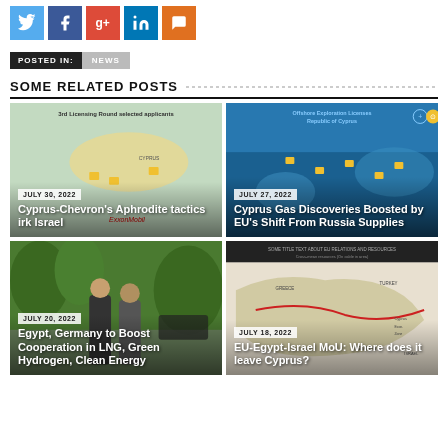[Figure (infographic): Social sharing icons row: Twitter (blue), Facebook (dark blue), Google+ (red), LinkedIn (blue), Comment (orange)]
POSTED IN: NEWS
SOME RELATED POSTS
[Figure (photo): JULY 30, 2022 - Cyprus-Chevron's Aphrodite tactics irk Israel - map image]
[Figure (photo): JULY 27, 2022 - Cyprus Gas Discoveries Boosted by EU's Shift From Russia Supplies - offshore map]
[Figure (photo): JULY 20, 2022 - Egypt, Germany to Boost Cooperation in LNG, Green Hydrogen, Clean Energy - photo of officials]
[Figure (photo): JULY 18, 2022 - EU-Egypt-Israel MoU: Where does it leave Cyprus? - regional map]